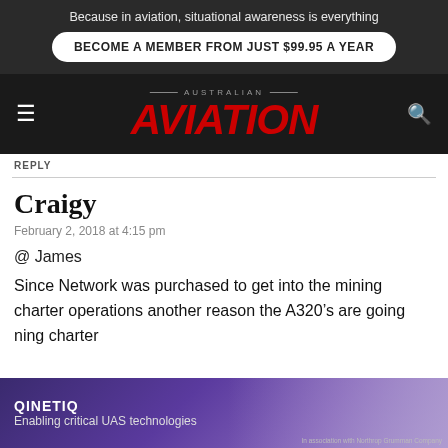Because in aviation, situational awareness is everything
BECOME A MEMBER FROM JUST $99.95 A YEAR
[Figure (logo): Australian Aviation magazine logo with red italic AVIATION text on dark background]
REPLY
Craigy
February 2, 2018 at 4:15 pm
@ James
Since Network was purchased to get into the mining charter operations another reason the A320’s are going [into mining] charter
[Figure (screenshot): QinetiQ advertisement banner: Enabling critical UAS technologies, with purple gradient background and drone/vehicle imagery]